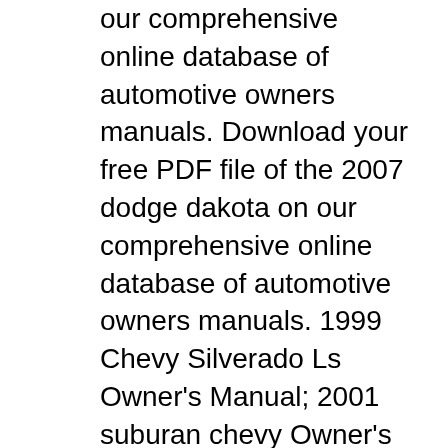our comprehensive online database of automotive owners manuals. Download your free PDF file of the 2007 dodge dakota on our comprehensive online database of automotive owners manuals. 1999 Chevy Silverado Ls Owner's Manual; 2001 suburan chevy Owner's Manual;
Read consumer reviews from real 2001 Dodge Dakota Quad Cab buyers. Learn what owners have to say and get authentic consumer feedback before buying your next car. Find your Dodge Owners Manual here at this site for 2001 Dodge Dakota 4.7 Owners Manual and you can get it. Search for 2001 Dodge Dakota 4.7 Owners Manual here